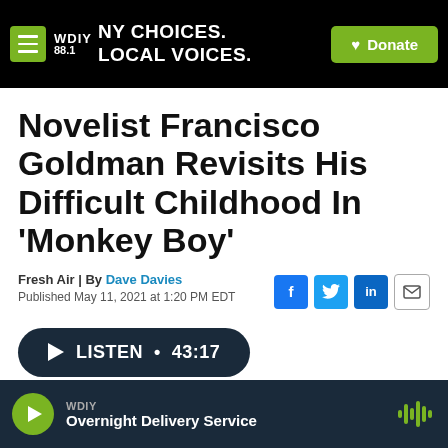WDIY 88.1 | NY CHOICES. LOCAL VOICES. | Donate
Novelist Francisco Goldman Revisits His Difficult Childhood In 'Monkey Boy'
Fresh Air | By Dave Davies
Published May 11, 2021 at 1:20 PM EDT
LISTEN • 43:17
WDIY | Overnight Delivery Service